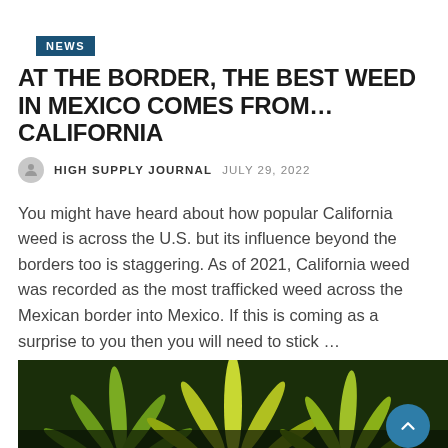NEWS
AT THE BORDER, THE BEST WEED IN MEXICO COMES FROM…CALIFORNIA
HIGH SUPPLY JOURNAL  JULY 29, 2022
You might have heard about how popular California weed is across the U.S. but its influence beyond the borders too is staggering. As of 2021, California weed was recorded as the most trafficked weed across the Mexican border into Mexico. If this is coming as a surprise to you then you will need to stick …
Read More >
[Figure (photo): Close-up photograph of cannabis leaves with yellow-green foliage against a dark background]